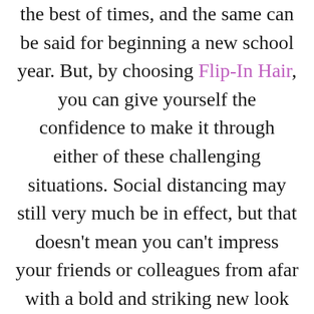the best of times, and the same can be said for beginning a new school year. But, by choosing Flip-In Hair, you can give yourself the confidence to make it through either of these challenging situations. Social distancing may still very much be in effect, but that doesn't mean you can't impress your friends or colleagues from afar with a bold and striking new look seemingly pulled from the pages of a glossy magazine. Whether you're back to work or back to school, Flip-In...